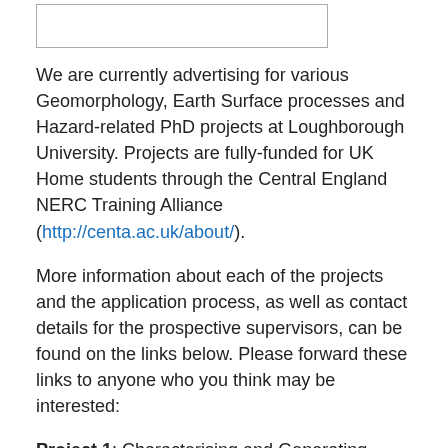[Figure (other): Empty bordered rectangle, likely an image placeholder or logo area]
We are currently advertising for various Geomorphology, Earth Surface processes and Hazard-related PhD projects at Loughborough University. Projects are fully-funded for UK Home students through the Central England NERC Training Alliance (http://centa.ac.uk/about/).
More information about each of the projects and the application process, as well as contact details for the prospective supervisors, can be found on the links below. Please forward these links to anyone who you think may be interested:
Project 1: Characterising and Generating Landscape Surfaces using Physically Constrained Learning (http://centa.ac.uk/studentship/characterising-and-generating-landscape-surfaces-using-physically-constrained-learning/). Supervised by Prof Chris Keylock & Dr Fabio...